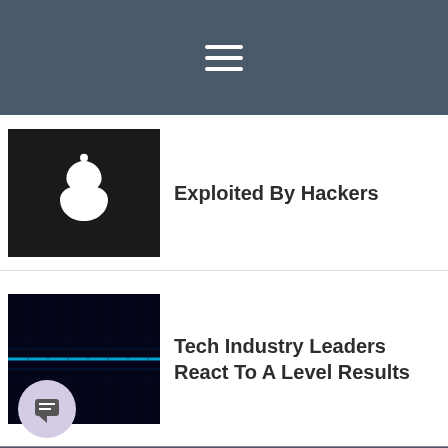Navigation menu
Exploited By Hackers
Tech Industry Leaders React To A Level Results
Expert On Report Showing 297% Increase In US Breaches Tied To Supply Chain And Third-party Suppliers
[Figure (logo): Information Security Buzz logo - purple speech bubble with 'buzz' text]
Information Security Buzz (aka ISBuzz News) is an